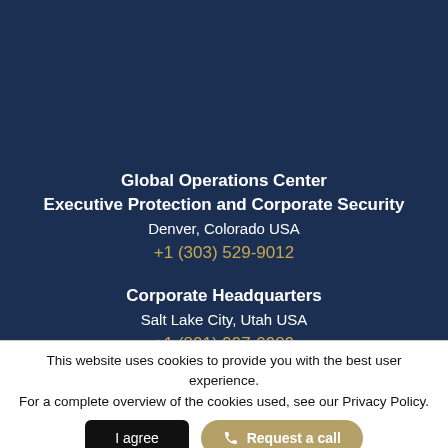Global Operations Center
Executive Protection and Corporate Security
Denver, Colorado USA
+1 (303) 529-9012
Corporate Headquarters
Salt Lake City, Utah USA
+1 (801) 997-0989
This website uses cookies to provide you with the best user experience. For a complete overview of the cookies used, see our Privacy Policy.
I agree
Request a call